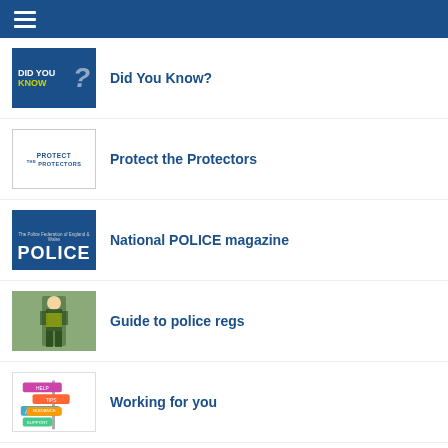Did You Know?
Protect the Protectors
National POLICE magazine
Guide to police regs
Working for you
Pension FAQs